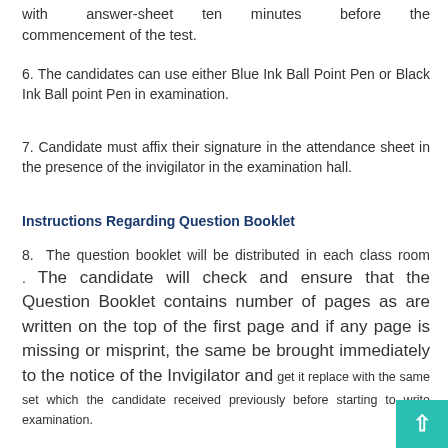with answer-sheet ten minutes before the commencement of the test.
6. The candidates can use either Blue Ink Ball Point Pen or Black Ink Ball point Pen in examination.
7. Candidate must affix their signature in the attendance sheet in the presence of the invigilator in the examination hall.
Instructions Regarding Question Booklet
8. The question booklet will be distributed in each class room . The candidate will check and ensure that the Question Booklet contains number of pages as are written on the top of the first page and if any page is missing or misprint, the same be brought immediately to the notice of the Invigilator and get it replace with the same set which the candidate received previously before starting to write examination.